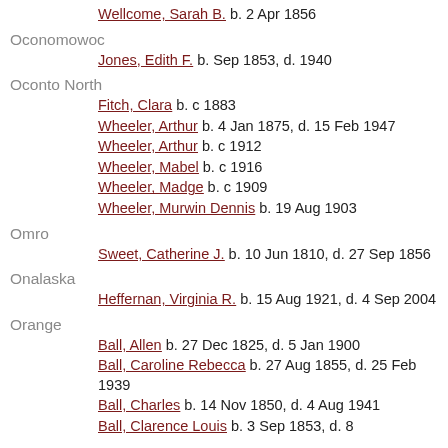Wellcome, Sarah B.  b. 2 Apr 1856
Oconomowoc
Jones, Edith F.  b. Sep 1853, d. 1940
Oconto North
Fitch, Clara  b. c 1883
Wheeler, Arthur  b. 4 Jan 1875, d. 15 Feb 1947
Wheeler, Arthur  b. c 1912
Wheeler, Mabel  b. c 1916
Wheeler, Madge  b. c 1909
Wheeler, Murwin Dennis  b. 19 Aug 1903
Omro
Sweet, Catherine J.  b. 10 Jun 1810, d. 27 Sep 1856
Onalaska
Heffernan, Virginia R.  b. 15 Aug 1921, d. 4 Sep 2004
Orange
Ball, Allen  b. 27 Dec 1825, d. 5 Jan 1900
Ball, Caroline Rebecca  b. 27 Aug 1855, d. 25 Feb 1939
Ball, Charles  b. 14 Nov 1850, d. 4 Aug 1941
Ball, Clarence Louis  b. 3 Sep 1853, d. 8